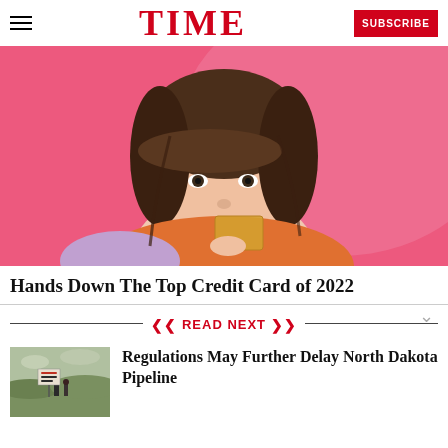TIME | SUBSCRIBE
[Figure (photo): Young woman with brown hair and bangs, holding a gold/tan credit card near her face, against a pink background, wearing orange and lavender top.]
Hands Down The Top Credit Card of 2022
READ NEXT
[Figure (photo): Outdoor photo of protesters at Standing Rock / North Dakota pipeline protest, with a sign reading 'PROTECT WATER IS SACRED'.]
Regulations May Further Delay North Dakota Pipeline